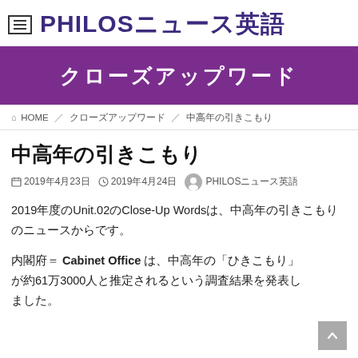PHILOSニュース英語
[Figure (logo): PHILOSニュース英語 site header with hamburger menu icon and site title]
クローズアップワード
🏠 HOME / クローズアップワード / 中高年の引きこもり
中高年の引きこもり
📅 2019年4月23日　🕐 2019年4月24日　👤 PHILOSニュース英語
2019年度のUnit.02のClose-Up Wordsは、中高年の引きこもりのニュースからです。
内閣府＝ Cabinet Office は、中高年の「ひきこもり」が約61万3000人と推定されるという調査結果を発表しました。